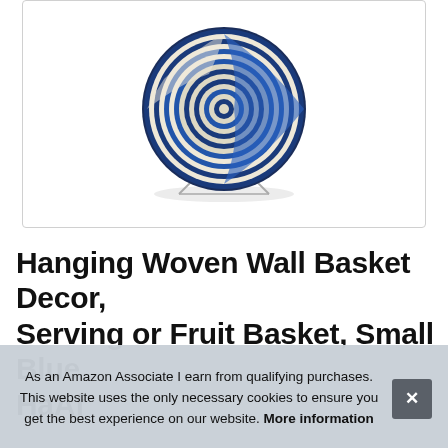[Figure (photo): Woven wall basket with blue and cream spiral pattern, displayed on a small stand against white background, inside a rounded rectangle border]
Hanging Woven Wall Basket Decor, Serving or Fruit Basket, Small Blue Ha... Af...
As an Amazon Associate I earn from qualifying purchases. This website uses the only necessary cookies to ensure you get the best experience on our website. More information